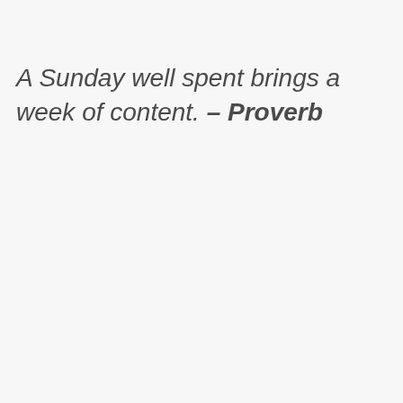A Sunday well spent brings a week of content. – Proverb